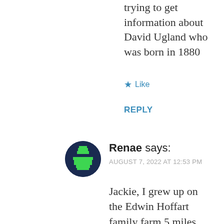trying to get information about David Ugland who was born in 1880
★ Like
REPLY
[Figure (illustration): User avatar: dark navy circle with a green pixelated/blocky icon representing a person]
Renae says:
AUGUST 7, 2022 AT 12:53 PM
Jackie, I grew up on the Edwin Hoffart family farm 5 miles south of Knox. My grandfather was Joseph Hoffart and great grandfather Ignatz Hoffart. Do you know anything about the farm or...? Oh how the